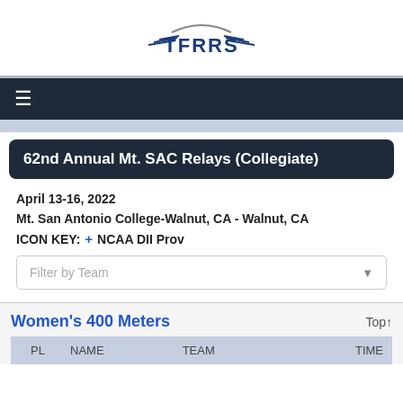[Figure (logo): TFRRS logo with wings and arc]
≡
62nd Annual Mt. SAC Relays (Collegiate)
April 13-16, 2022
Mt. San Antonio College-Walnut, CA - Walnut, CA
ICON KEY: + NCAA DII Prov
Women's 400 Meters
| PL | NAME | TEAM | TIME |
| --- | --- | --- | --- |